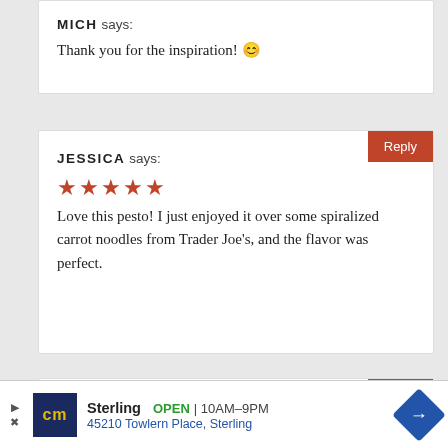MICH says: Thank you for the inspiration! 😄
JESSICA says:
★★★★★
Love this pesto! I just enjoyed it over some spiralized carrot noodles from Trader Joe's, and the flavor was perfect.
SARAH says: Hi!
Sterling OPEN 10AM–9PM 45210 Towlern Place, Sterling